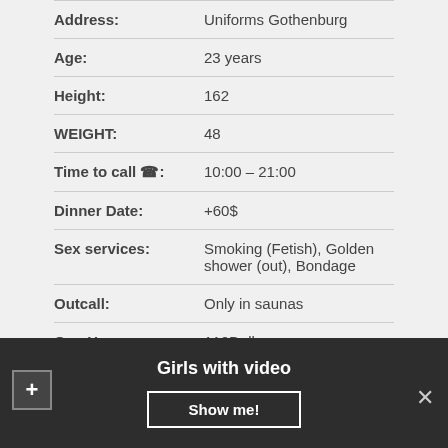| Field | Value |
| --- | --- |
| Address: | Uniforms Gothenburg |
| Age: | 23 years |
| Height: | 162 |
| WEIGHT: | 48 |
| Time to call ☎: | 10:00 – 21:00 |
| Dinner Date: | +60$ |
| Sex services: | Smoking (Fetish), Golden shower (out), Bondage |
| Outcall: | Only in saunas |
| One Hr: | 110Doll |
| Without condom: | 300$ |
Girls with video
Show me!